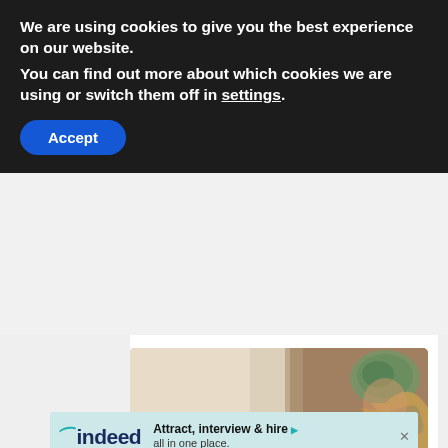We are using cookies to give you the best experience on our website.
You can find out more about which cookies we are using or switch them off in settings.
Accept
[Figure (photo): Person using a power drill on a wall, wearing safety goggles, with long blonde hair visible]
Home Improvement (Safety & Savings) Advice for Telecommuters
[Figure (other): Indeed advertisement banner: 'Attract, interview & hire all in one place.']